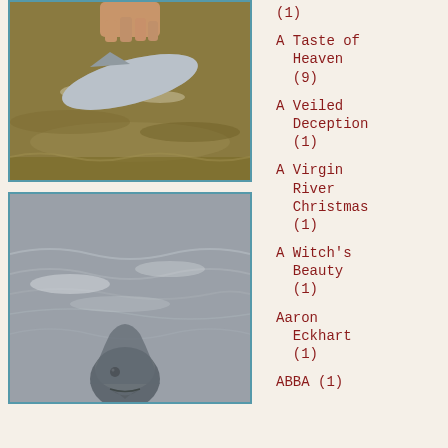[Figure (photo): A fish being held over murky brown-green water, with a hand visible at top]
[Figure (photo): A dolphin or large fish near the surface of grey rippling water, with its head visible at bottom]
(1)
A Taste of Heaven
(9)
A Veiled Deception
(1)
A Virgin River Christmas
(1)
A Witch's Beauty
(1)
Aaron Eckhart
(1)
ABBA (1)